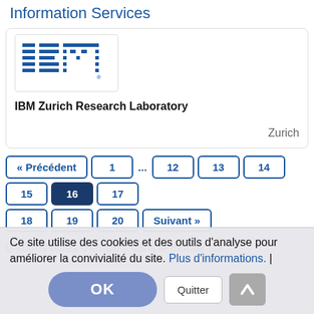Information Services
[Figure (logo): IBM logo — horizontal blue striped letters IBM with registered trademark]
IBM Zurich Research Laboratory
Zurich
« Précédent  1  ...  12  13  14  15  16  17  18  19  20  Suivant »
D'autres offres d'emplois dans le monde sur
Ce site utilise des cookies et des outils d'analyse pour améliorer la convivialité du site. Plus d'informations. |
OK  Quitter